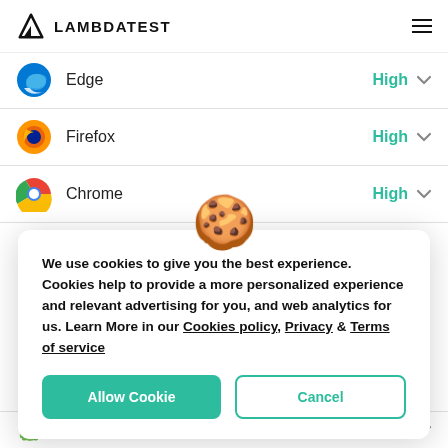LAMBDATEST
Edge — High
Firefox — High
Chrome — High
We use cookies to give you the best experience. Cookies help to provide a more personalized experience and relevant advertising for you, and web analytics for us. Learn More in our Cookies policy, Privacy & Terms of service
Android Browser — High